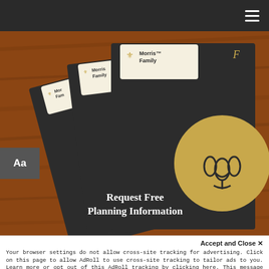Navigation bar with hamburger menu
[Figure (photo): Multiple dark-colored Morris Family funeral planning brochures fanned out on a wooden surface. The brochures have cream-colored label tabs showing the Morris Family logo (a stylized tulip/crown symbol in gold) and the text 'Morris Family'. One brochure shows a large gold circle with the Morris Family logo and text 'Request Free Planning Information' in white bold serif font.]
Aa
Accept and Close ✕
Your browser settings do not allow cross-site tracking for advertising. Click on this page to allow AdRoll to use cross-site tracking to tailor ads to you. Learn more or opt out of this AdRoll tracking by clicking here. This message only appears once.